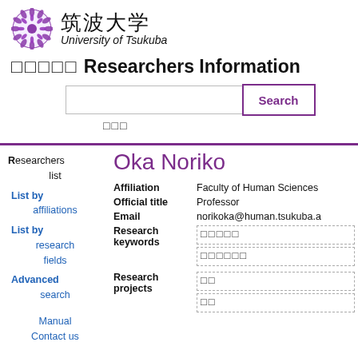[Figure (logo): University of Tsukuba logo with purple chrysanthemum emblem, Japanese text 筑波大学 and italic University of Tsukuba]
□□□□□ Researchers Information
Search box with Search button
□□□
Researchers list
List by affiliations
List by research fields
Advanced search
Manual
Contact us
Oka Noriko
| Field | Value |
| --- | --- |
| Affiliation | Faculty of Human Sciences |
| Official title | Professor |
| Email | norikoka@human.tsukuba.a |
| Research keywords | □□□□□
□□□□□□ |
| Research projects | □□
□□ |